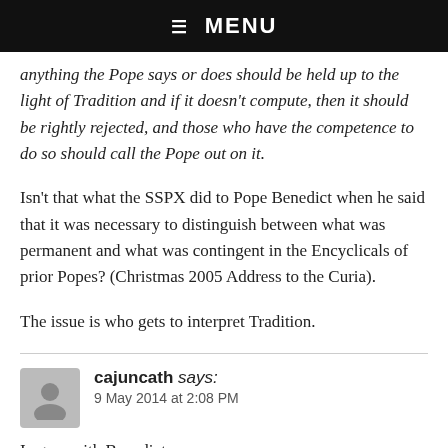☰ MENU
anything the Pope says or does should be held up to the light of Tradition and if it doesn't compute, then it should be rightly rejected, and those who have the competence to do so should call the Pope out on it.
Isn't that what the SSPX did to Pope Benedict when he said that it was necessary to distinguish between what was permanent and what was contingent in the Encyclicals of prior Popes? (Christmas 2005 Address to the Curia).
The issue is who gets to interpret Tradition.
cajuncath says:
9 May 2014 at 2:08 PM
I agree with Benedict